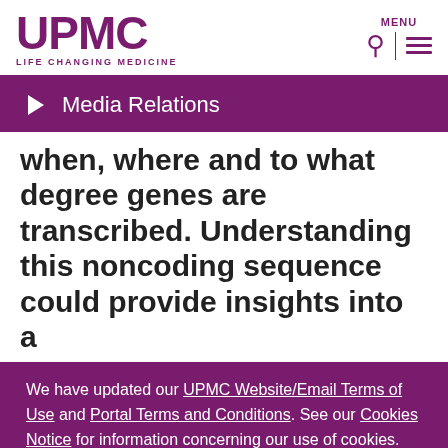UPMC LIFE CHANGING MEDICINE
Media Relations
when, where and to what degree genes are transcribed. Understanding this noncoding sequence could provide insights into a
We have updated our UPMC Website/Email Terms of Use and Portal Terms and Conditions. See our Cookies Notice for information concerning our use of cookies. By using this website you consent to our Website/Email Terms of Use.
I Accept